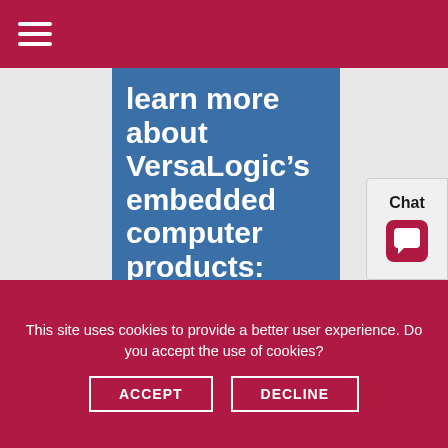learn more about VersaLogic’s embedded computer products:
First Name *
This site uses cookies to provide a better user experience. Do you accept the use of cookies?
ACCEPT
DECLINE
Chat